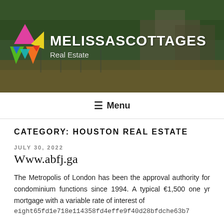[Figure (photo): Website header banner with outdoor real estate photo background, colorful geometric logo on left, site name MELISSASCOTTAGES and subtitle Real Estate in white text]
≡ Menu
CATEGORY: HOUSTON REAL ESTATE
JULY 30, 2022
Www.abfj.ga
The Metropolis of London has been the approval authority for condominium functions since 1994. A typical €1,500 one yr mortgage with a variable rate of interest of
eight65fd1e718e114358fd4effe9f40d28bfdche63b7